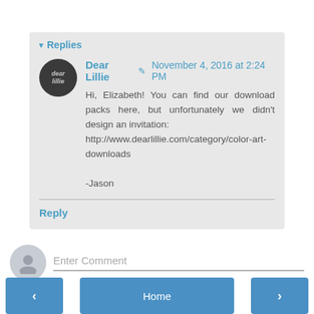▾ Replies
Dear Lillie ✎ November 4, 2016 at 2:24 PM
Hi, Elizabeth! You can find our download packs here, but unfortunately we didn't design an invitation: http://www.dearlillie.com/category/color-art-downloads

-Jason
Reply
Enter Comment
< Home >